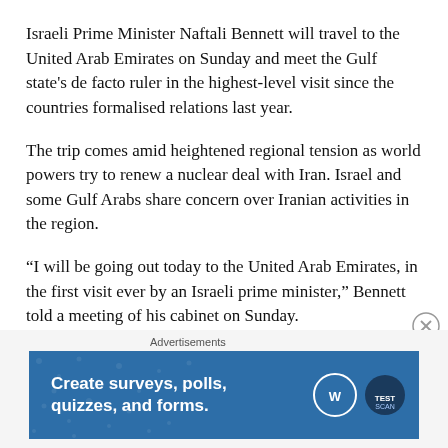Israeli Prime Minister Naftali Bennett will travel to the United Arab Emirates on Sunday and meet the Gulf state's de facto ruler in the highest-level visit since the countries formalised relations last year.
The trip comes amid heightened regional tension as world powers try to renew a nuclear deal with Iran. Israel and some Gulf Arabs share concern over Iranian activities in the region.
“I will be going out today to the United Arab Emirates, in the first visit ever by an Israeli prime minister,” Bennett told a meeting of his cabinet on Sunday.
There was no immediate confirmation from Abu Dhabi.
Advertisements
[Figure (other): Advertisement banner: Create surveys, polls, quizzes, and forms. WordPress and Test-Scan logos.]